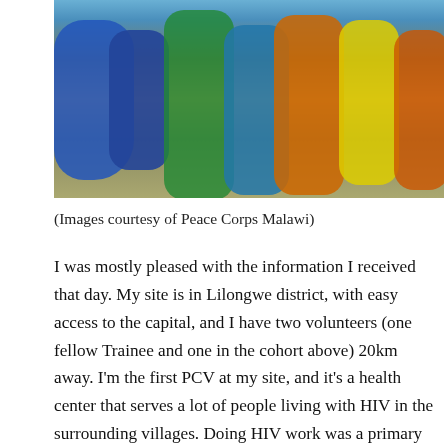[Figure (photo): Group photo of several people wearing colorful traditional African clothing outdoors, taken from chest-down, with a sandy/dusty outdoor background.]
(Images courtesy of Peace Corps Malawi)
I was mostly pleased with the information I received that day. My site is in Lilongwe district, with easy access to the capital, and I have two volunteers (one fellow Trainee and one in the cohort above) 20km away. I'm the first PCV at my site, and it's a health center that serves a lot of people living with HIV in the surrounding villages. Doing HIV work was a primary motivator for me to serve as a Health Volunteer here in Malawi. Typically, site announcements are accompanied by a whole packet